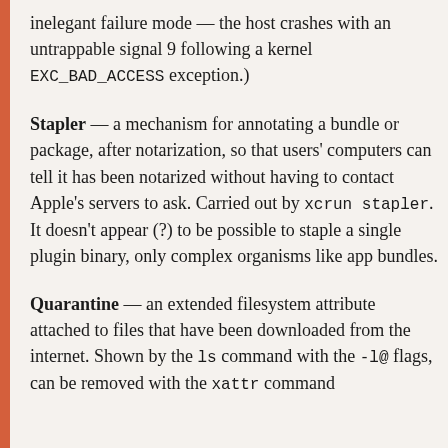inelegant failure mode — the host crashes with an untrappable signal 9 following a kernel EXC_BAD_ACCESS exception.)
Stapler — a mechanism for annotating a bundle or package, after notarization, so that users' computers can tell it has been notarized without having to contact Apple's servers to ask. Carried out by xcrun stapler. It doesn't appear (?) to be possible to staple a single plugin binary, only complex organisms like app bundles.
Quarantine — an extended filesystem attribute attached to files that have been downloaded from the internet. Shown by the ls command with the -l@ flags, can be removed with the xattr command